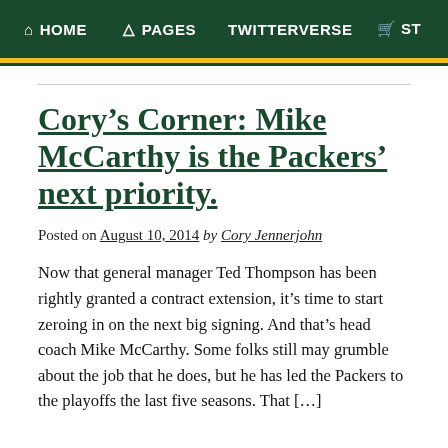HOME  PAGES  TWITTERVERSE  ST
Cory’s Corner: Mike McCarthy is the Packers’ next priority.
Posted on August 10, 2014 by Cory Jennerjohn
Now that general manager Ted Thompson has been rightly granted a contract extension, it’s time to start zeroing in on the next big signing. And that’s head coach Mike McCarthy. Some folks still may grumble about the job that he does, but he has led the Packers to the playoffs the last five seasons. That […]